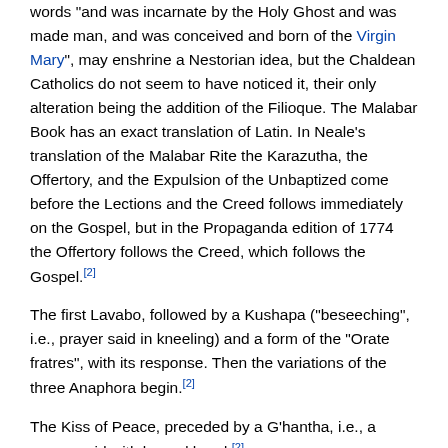words "and was incarnate by the Holy Ghost and was made man, and was conceived and born of the Virgin Mary", may enshrine a Nestorian idea, but the Chaldean Catholics do not seem to have noticed it, their only alteration being the addition of the Filioque. The Malabar Book has an exact translation of Latin. In Neale's translation of the Malabar Rite the Karazutha, the Offertory, and the Expulsion of the Unbaptized come before the Lections and the Creed follows immediately on the Gospel, but in the Propaganda edition of 1774 the Offertory follows the Creed, which follows the Gospel.[2]
The first Lavabo, followed by a Kushapa ("beseeching", i.e., prayer said in kneeling) and a form of the "Orate fratres", with its response. Then the variations of the three Anaphora begin.[2]
The Kiss of Peace, preceded by a G'hantha, i.e., a prayer said with bowed head.[2]
The prayer of Memorial (Dukhrana) of the Living and the Dead, and the Diptychs; the latter is now obsolete in the Church of the East.[2]
The Anaphora